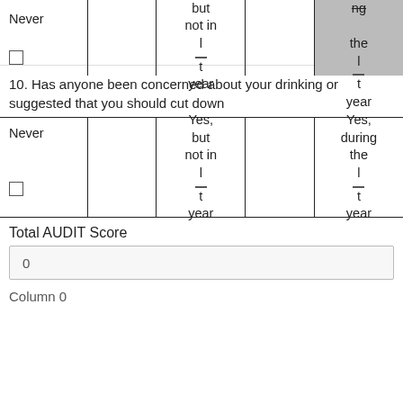| Never |  | Yes, but not in last year |  | Yes, during the last year |
| --- | --- | --- | --- | --- |
| ☐ |  | ☐ |  | ☐ |
10. Has anyone been concerned about your drinking or suggested that you should cut down
| Never |  | Yes, but not in last year |  | Yes, during the last year |
| --- | --- | --- | --- | --- |
| ☐ |  | ☐ |  | ☐ |
Total AUDIT Score
| 0 |
Column 0